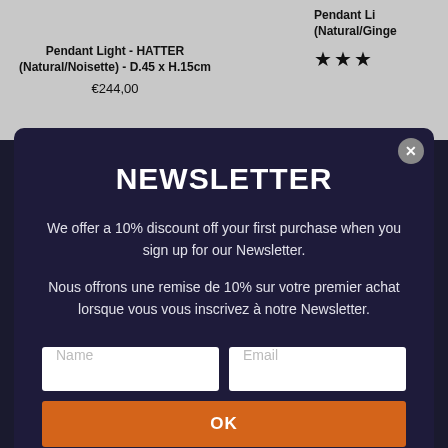Pendant Light - HATTER (Natural/Noisette) - D.45 x H.15cm
€244,00
Pendant Light (Natural/Ginge...
NEWSLETTER
We offer a 10% discount off your first purchase when you sign up for our Newsletter.
Nous offrons une remise de 10% sur votre premier achat lorsque vous vous inscrivez à notre Newsletter.
Informations
English >